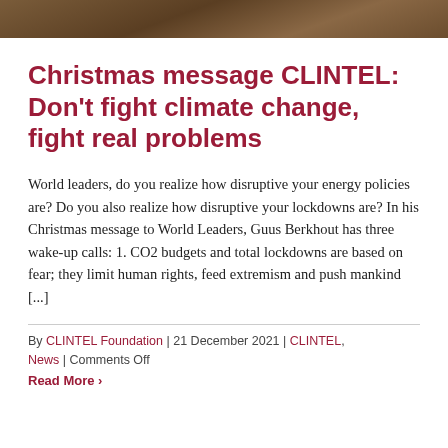[Figure (photo): Partial view of a stone or decorative surface background image at the top of the page]
Christmas message CLINTEL: Don't fight climate change, fight real problems
World leaders, do you realize how disruptive your energy policies are? Do you also realize how disruptive your lockdowns are? In his Christmas message to World Leaders, Guus Berkhout has three wake-up calls: 1. CO2 budgets and total lockdowns are based on fear; they limit human rights, feed extremism and push mankind [...]
By CLINTEL Foundation | 21 December 2021 | CLINTEL, News | Comments Off
Read More ›